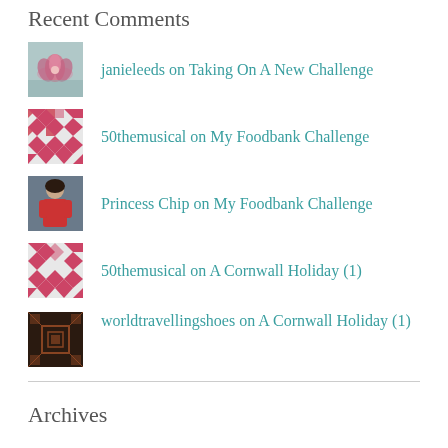Recent Comments
janieleeds on Taking On A New Challenge
50themusical on My Foodbank Challenge
Princess Chip on My Foodbank Challenge
50themusical on A Cornwall Holiday (1)
worldtravellingshoes on A Cornwall Holiday (1)
Archives